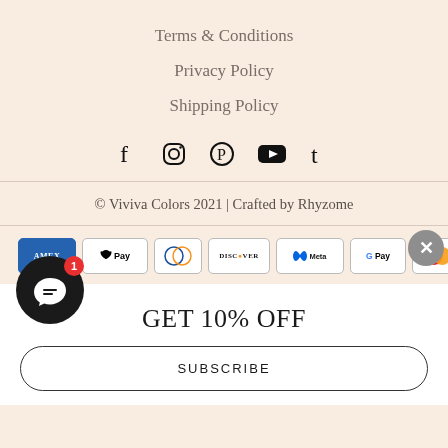Terms & Conditions
Privacy Policy
Shipping Policy
[Figure (other): Social media icons row: Facebook, Instagram, Pinterest, YouTube, Tumblr]
© Viviva Colors 2021 | Crafted by Rhyzome
[Figure (other): Payment method icons: Amex, Apple Pay, Diners Club, Discover, Meta Pay, Google Pay, Mastercard, PayPal]
GET 10% OFF
SUBSCRIBE